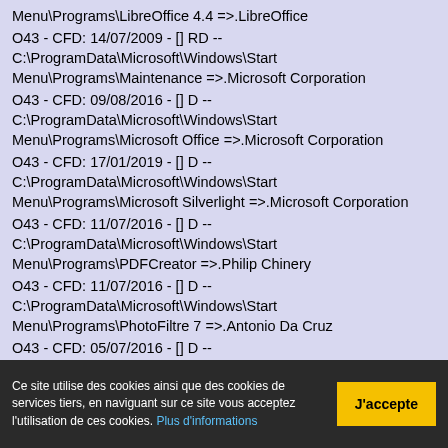Menu\Programs\LibreOffice 4.4 =>.LibreOffice
O43 - CFD: 14/07/2009 - [] RD -- C:\ProgramData\Microsoft\Windows\Start Menu\Programs\Maintenance =>.Microsoft Corporation
O43 - CFD: 09/08/2016 - [] D -- C:\ProgramData\Microsoft\Windows\Start Menu\Programs\Microsoft Office =>.Microsoft Corporation
O43 - CFD: 17/01/2019 - [] D -- C:\ProgramData\Microsoft\Windows\Start Menu\Programs\Microsoft Silverlight =>.Microsoft Corporation
O43 - CFD: 11/07/2016 - [] D -- C:\ProgramData\Microsoft\Windows\Start Menu\Programs\PDFCreator =>.Philip Chinery
O43 - CFD: 11/07/2016 - [] D -- C:\ProgramData\Microsoft\Windows\Start Menu\Programs\PhotoFiltre 7 =>.Antonio Da Cruz
O43 - CFD: 05/07/2016 - [] D -- C:\ProgramData\Microsoft\Windows\Start Menu\Programs\Power Thermal Utility for Clarkdale Processor
Ce site utilise des cookies ainsi que des cookies de services tiers, en naviguant sur ce site vous acceptez l'utilisation de ces cookies. Plus d'informations